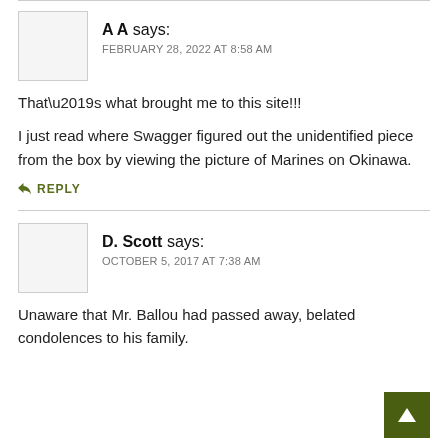A A says:
FEBRUARY 28, 2022 AT 8:58 AM
That’s what brought me to this site!!!
I just read where Swagger figured out the unidentified piece from the box by viewing the picture of Marines on Okinawa.
REPLY
D. Scott says:
OCTOBER 5, 2017 AT 7:38 AM
Unaware that Mr. Ballou had passed away, belated condolences to his family.